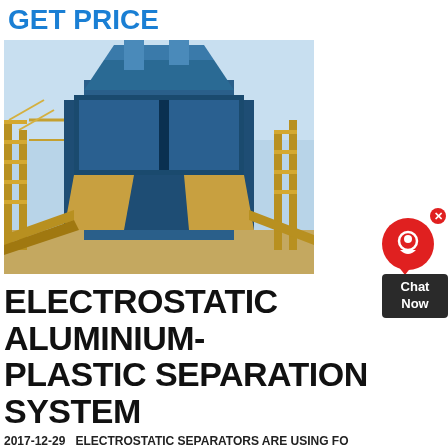GET PRICE
[Figure (photo): Large industrial blue electrostatic separation machine with yellow scaffolding and conveyor systems at an outdoor facility]
ELECTROSTATIC ALUMINIUM-PLASTIC SEPARATION SYSTEM
2017-12-29   ELECTROSTATIC SEPARATORS ARE USING FOR EFFECTIVENESS OF SEPARATION OF ALUMINUM, COPPER AND OTHER NON-FERROUS METALS FROM MIXED MATERIALS: COMMUNAL SOLID WASTE, PLASTIC, GLASS, RUBBER, WOOD IN MANY RECYCLING INSTALLATIONS.
GET PRICE